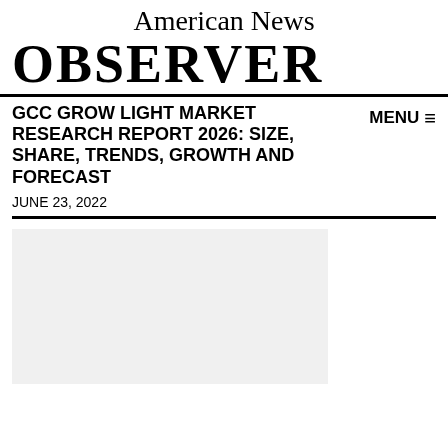American News
OBSERVER
GCC GROW LIGHT MARKET RESEARCH REPORT 2026: SIZE, SHARE, TRENDS, GROWTH AND FORECAST
JUNE 23, 2022
[Figure (photo): Gray placeholder image area below the article header]